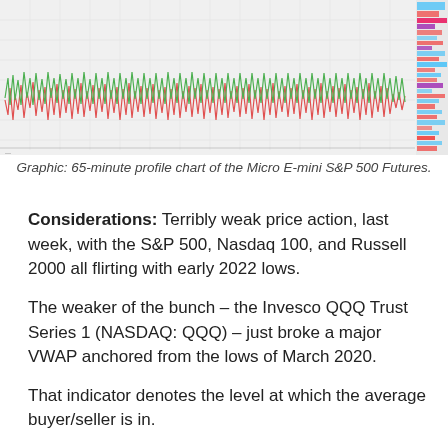[Figure (continuous-plot): 65-minute profile chart of the Micro E-mini S&P 500 Futures showing price action with candlestick-style bars and volume profile on the right side. Red and green spikes visible across the chart.]
Graphic: 65-minute profile chart of the Micro E-mini S&P 500 Futures.
Considerations: Terribly weak price action, last week, with the S&P 500, Nasdaq 100, and Russell 2000 all flirting with early 2022 lows.
The weaker of the bunch – the Invesco QQQ Trust Series 1 (NASDAQ: QQQ) – just broke a major VWAP anchored from the lows of March 2020.
That indicator denotes the level at which the average buyer/seller is in.
In other words, it is the fairest price to pay for Nasdaq 100 exposure (since March 2020), and, instead of being